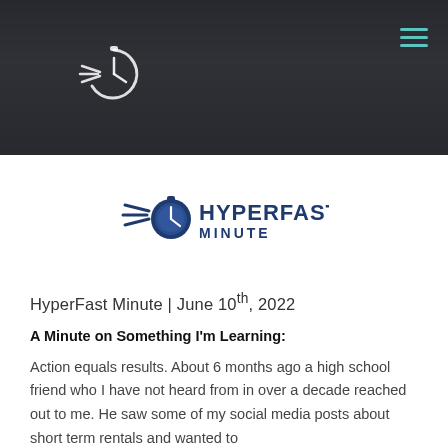[Figure (photo): Hero banner with dark overlay showing a person wearing sunglasses in a car, with a hamburger menu icon in the top right corner in teal color, and a circular spinner/clock graphic on the left side.]
[Figure (logo): HyperFast Minute logo: a dark navy blue stopwatch/clock icon with speed lines on the left, and the text HYPERFAST in bold dark navy uppercase letters with MINUTE below it in smaller uppercase letters.]
HyperFast Minute | June 10th, 2022
A Minute on Something I'm Learning:
Action equals results. About 6 months ago a high school friend who I have not heard from in over a decade reached out to me. He saw some of my social media posts about short term rentals and wanted to